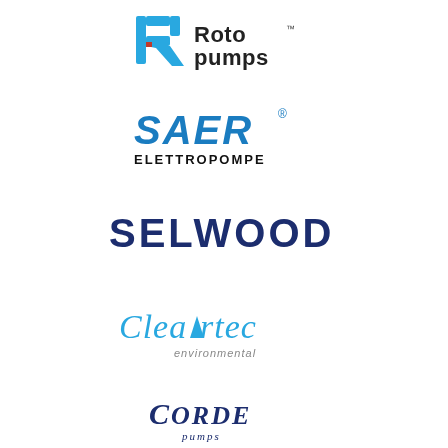[Figure (logo): Roto Pumps logo with blue angular R icon and bold black text 'Roto pumps' with TM mark]
[Figure (logo): SAER Elettropompe logo with bold blue 'SAER' text with registered mark and black 'ELETTROPOMPE' below]
[Figure (logo): Selwood logo with bold dark navy 'SELWOOD' text]
[Figure (logo): Cleartec environmental logo with stylized blue 'Cleartec' text and grey 'environmental' below]
[Figure (logo): Corde Pumps logo with dark navy italic serif 'CORDE' and smaller 'pumps' below in italic]